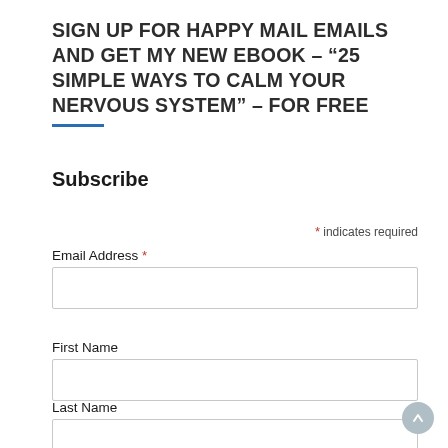SIGN UP FOR HAPPY MAIL EMAILS AND GET MY NEW EBOOK – “25 SIMPLE WAYS TO CALM YOUR NERVOUS SYSTEM” – FOR FREE
Subscribe
* indicates required
Email Address *
First Name
Last Name